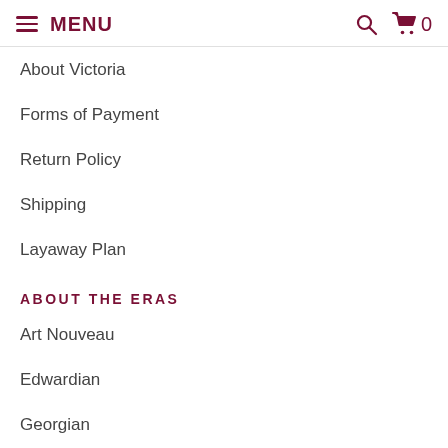☰ MENU  🔍  🛒 0
About Victoria
Forms of Payment
Return Policy
Shipping
Layaway Plan
ABOUT THE ERAS
Art Nouveau
Edwardian
Georgian
SOCIAL MEDIA